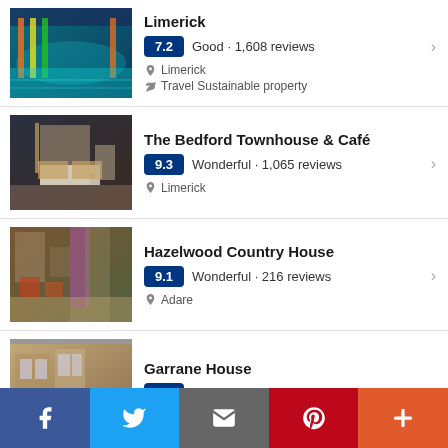Limerick · 7.2 Good · 1,608 reviews · Limerick · Travel Sustainable property
The Bedford Townhouse & Café · 9.3 Wonderful · 1,065 reviews · Limerick
Hazelwood Country House · 9.1 Wonderful · 216 reviews · Adare
Garrane House · 9.6 Exceptional · 75 reviews